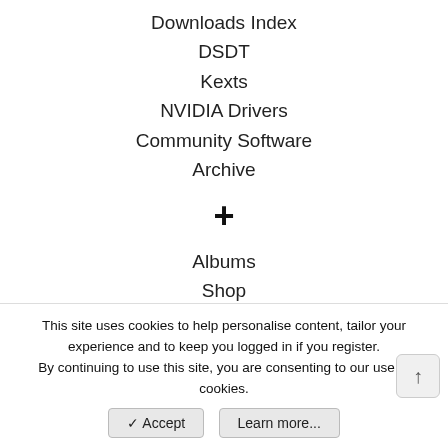Downloads Index
DSDT
Kexts
NVIDIA Drivers
Community Software
Archive
+
Albums
Shop
CustoMac.com
MultiBeast.com
UniBeast.com
Home   Activity   Rules   Contact Us
[Figure (other): Four social media icon buttons (Facebook, Instagram, Twitter/X, Discord) in dark rounded squares]
This site uses cookies to help personalise content, tailor your experience and to keep you logged in if you register.
By continuing to use this site, you are consenting to our use of cookies.
✓ Accept   Learn more...